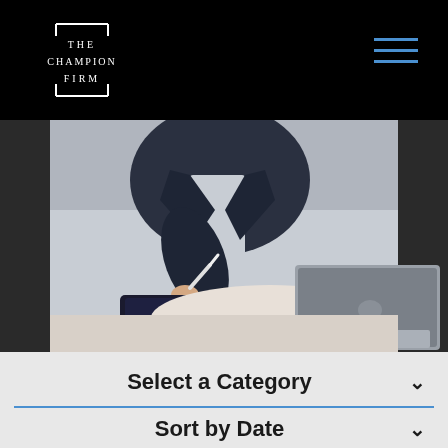[Figure (logo): The Champion Firm logo in white on black background with bracket decoration]
[Figure (photo): Person writing on a tablet with a stylus, with a MacBook laptop on a round table]
Select a Category
Sort by Date